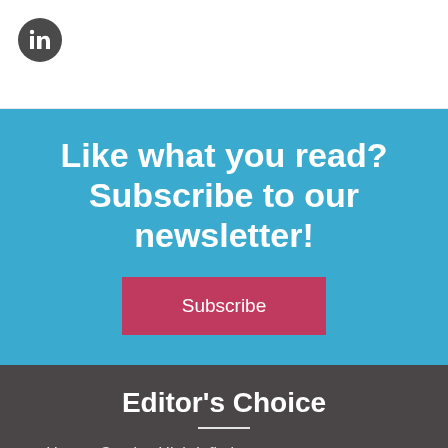[Figure (logo): LinkedIn icon in a dark circular badge]
Like what you read? Subscribe to our newsletter!
Subscribe
Editor's Choice
How to Survive High Inflation